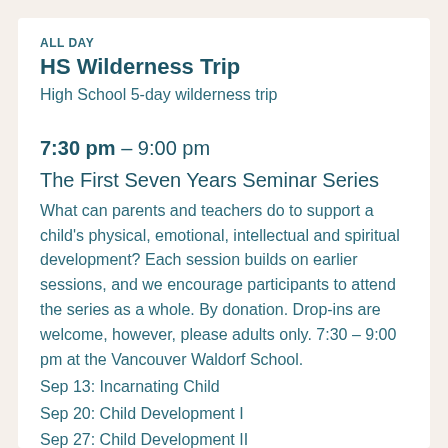ALL DAY
HS Wilderness Trip
High School 5-day wilderness trip
7:30 pm – 9:00 pm
The First Seven Years Seminar Series
What can parents and teachers do to support a child's physical, emotional, intellectual and spiritual development? Each session builds on earlier sessions, and we encourage participants to attend the series as a whole. By donation. Drop-ins are welcome, however, please adults only. 7:30 – 9:00 pm at the Vancouver Waldorf School.
Sep 13: Incarnating Child
Sep 20: Child Development I
Sep 27: Child Development II